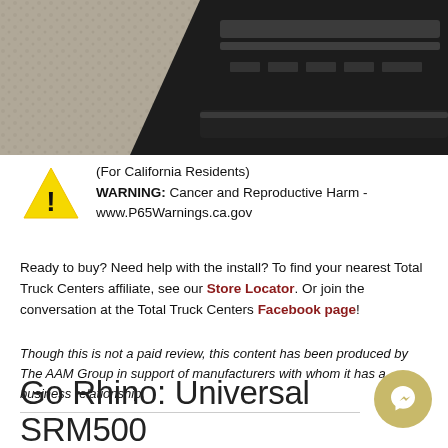[Figure (photo): Photo of a truck step bar accessory on gravel surface, dark metallic step bar visible on right side]
(For California Residents)
WARNING: Cancer and Reproductive Harm - www.P65Warnings.ca.gov
Ready to buy? Need help with the install? To find your nearest Total Truck Centers affiliate, see our Store Locator. Or join the conversation at the Total Truck Centers Facebook page!
Though this is not a paid review, this content has been produced by The AAM Group in support of manufacturers with whom it has a business relationship.
Go Rhino: Universal SRM500